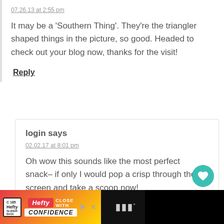07.26.13 at 2:55 pm
It may be a ‘Southern Thing’. They’re the triangler shaped things in the picture, so good. Headed to check out your blog now, thanks for the visit!
Reply
login says
02.02.17 at 8:01 pm
Oh wow this sounds like the most perfect snack– if only I would pop a crisp through the screen and take a scoop now!
Reply
[Figure (screenshot): Bottom advertisement bar for Hefty Slider bags with 'Close With Confidence' tagline, with black brand bar on right showing 'WW' logo]